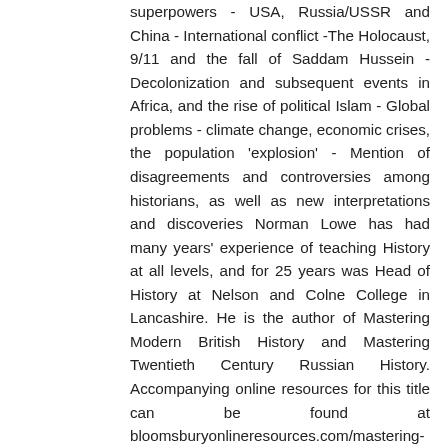superpowers - USA, Russia/USSR and China - International conflict -The Holocaust, 9/11 and the fall of Saddam Hussein - Decolonization and subsequent events in Africa, and the rise of political Islam - Global problems - climate change, economic crises, the population 'explosion' - Mention of disagreements and controversies among historians, as well as new interpretations and discoveries Norman Lowe has had many years' experience of teaching History at all levels, and for 25 years was Head of History at Nelson and Colne College in Lancashire. He is the author of Mastering Modern British History and Mastering Twentieth Century Russian History. Accompanying online resources for this title can be found at bloomsburyonlineresources.com/mastering-modern-world-history-5e. These resources are designed to support teaching and learning